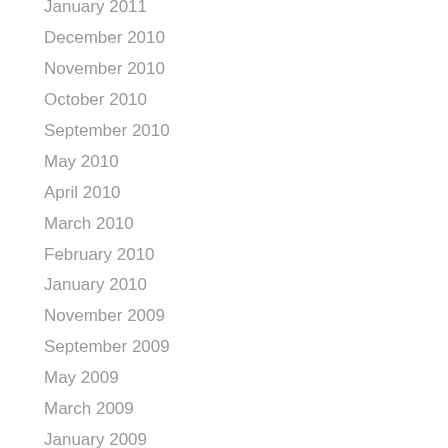January 2011
December 2010
November 2010
October 2010
September 2010
May 2010
April 2010
March 2010
February 2010
January 2010
November 2009
September 2009
May 2009
March 2009
January 2009